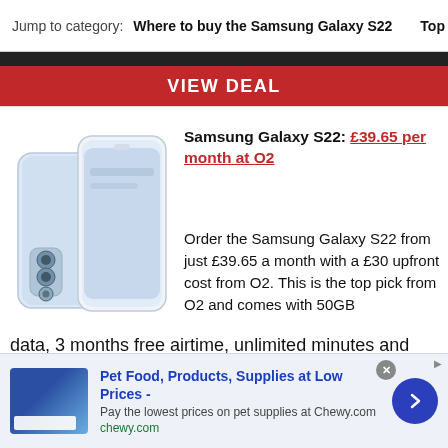Jump to category:  Where to buy the Samsung Galaxy S22  |  Top reta
[Figure (infographic): Red banner with 'VIEW DEAL' button in white bold text on red background, with dark top bar]
[Figure (photo): Samsung Galaxy S22 smartphone shown from front and back, light blue/white color]
Samsung Galaxy S22: £39.65 per month at O2
Order the Samsung Galaxy S22 from just £39.65 a month with a £30 upfront cost from O2. This is the top pick from O2 and comes with 50GB data, 3 months free airtime, unlimited minutes and texts, plus you can save on your monthly bill if you trade in an old Samsung phone.
[Figure (infographic): Advertisement banner: Pet Food, Products, Supplies at Low Prices - Pay the lowest prices on pet supplies at Chewy.com | chewy.com. Blue logo, arrow button.]